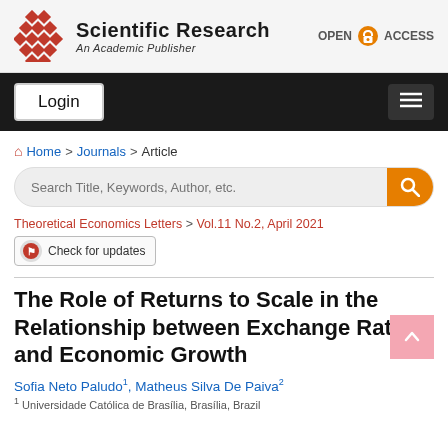[Figure (logo): Scientific Research publisher logo with diamond grid pattern and Open Access badge]
[Figure (screenshot): Navigation bar with Login button and hamburger menu on dark background]
Home > Journals > Article
[Figure (screenshot): Search bar with text 'Search Title, Keywords, Author, etc.' and orange search button]
Theoretical Economics Letters > Vol.11 No.2, April 2021
[Figure (screenshot): Check for updates badge]
The Role of Returns to Scale in the Relationship between Exchange Rate and Economic Growth
Sofia Neto Paludo1, Matheus Silva De Paiva2
1 Universidade Católica de Brasília, Brasília, Brazil